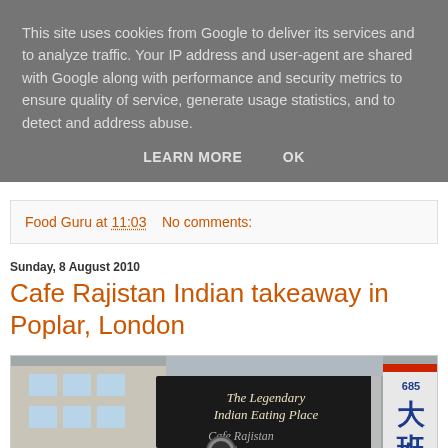This site uses cookies from Google to deliver its services and to analyze traffic. Your IP address and user-agent are shared with Google along with performance and security metrics to ensure quality of service, generate usage statistics, and to detect and address abuse.
LEARN MORE    OK
Food Guru at 11:03    No comments:
Sunday, 8 August 2010
Cafe Rajistan Indian takeaway in Poplar, London
[Figure (photo): Street sign for Cafe Rajistan Indian takeaway showing 'The Legendary Indian Eating Place' text and a Chinese character sign with number 685]